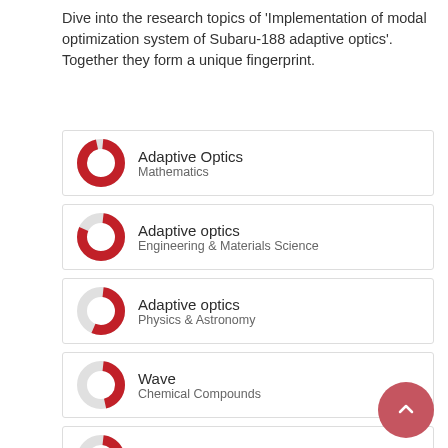Dive into the research topics of 'Implementation of modal optimization system of Subaru-188 adaptive optics'. Together they form a unique fingerprint.
[Figure (infographic): Donut chart near full (approx 95%) red fill labeled Adaptive Optics / Mathematics]
[Figure (infographic): Donut chart approx 80% red fill labeled Adaptive optics / Engineering & Materials Science]
[Figure (infographic): Donut chart approx 55% red fill labeled Adaptive optics / Physics & Astronomy]
[Figure (infographic): Donut chart approx 45% red fill labeled Wave / Chemical Compounds]
[Figure (infographic): Donut chart approx 40% red fill labeled Resonance / Chemical Compounds]
[Figure (infographic): Partial donut chart labeled Optimization (cut off)]